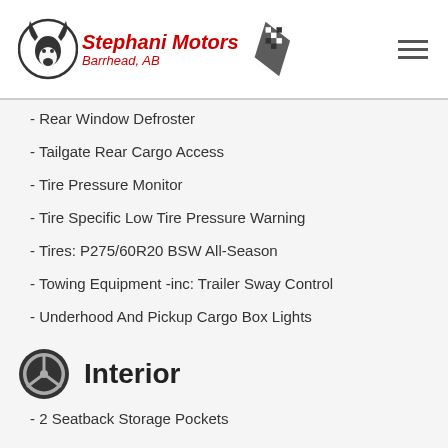Stephani Motors Barrhead, AB
- Rear Window Defroster
- Tailgate Rear Cargo Access
- Tire Pressure Monitor
- Tire Specific Low Tire Pressure Warning
- Tires: P275/60R20 BSW All-Season
- Towing Equipment -inc: Trailer Sway Control
- Underhood And Pickup Cargo Box Lights
Interior
- 2 Seatback Storage Pockets